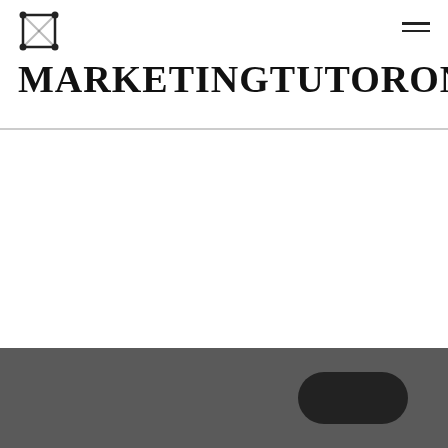[Figure (logo): Square polygon/vector icon logo with nodes at corners]
MARKETINGTUTORONSPOT
[Figure (other): Hamburger menu icon (three horizontal lines) in top right]
[Figure (other): Dark grey footer bar with a black rounded rectangle button on the right side]